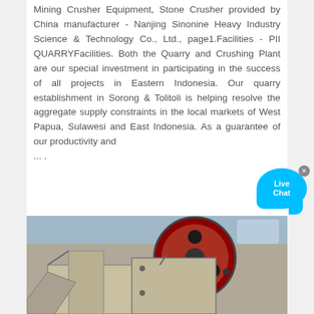Mining Crusher Equipment, Stone Crusher provided by China manufacturer - Nanjing Sinonine Heavy Industry Science & Technology Co., Ltd., page1.Facilities - PII QUARRYFacilities. Both the Quarry and Crushing Plant are our special investment in participating in the success of all projects in Eastern Indonesia. Our quarry establishment in Sorong & Tolitoli is helping resolve the aggregate supply constraints in the local markets of West Papua, Sulawesi and East Indonesia. As a guarantee of our productivity and ...
[Figure (other): Live Chat button - blue chat bubble with 'Live Chat' text and a close X button]
[Figure (photo): Industrial jaw crusher machine photographed outdoors, showing large red flywheel/pulley wheel with holes, heavy metal frame structure, with a quarry or construction site visible in the background under blue sky]